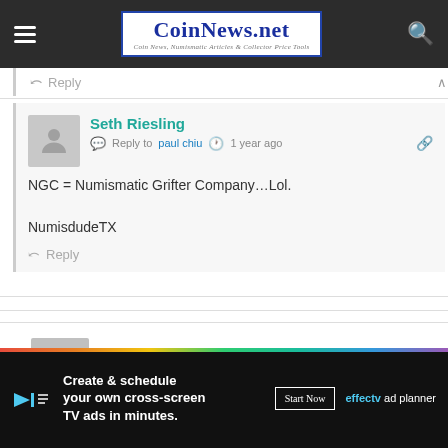CoinNews.net — Coin News, Numismatic Articles & Collector Price Tools
Reply ∧
Seth Riesling
Reply to paul chiu  1 year ago
NGC = Numismatic Grifter Company…Lol.
NumisdudeTX
Reply
[Figure (screenshot): Advertisement banner: Create & schedule your own cross-screen TV ads in minutes. Start Now. effectv ad planner.]